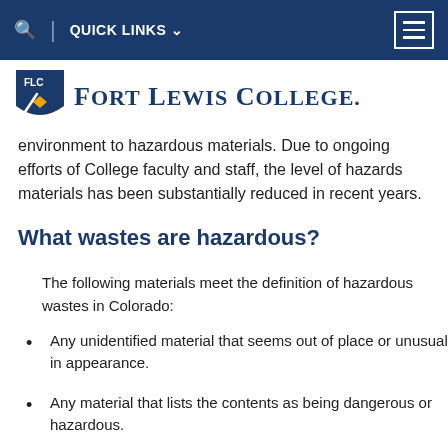QUICK LINKS
[Figure (logo): Fort Lewis College logo with FLC shield and college name]
environment to hazardous materials. Due to ongoing efforts of College faculty and staff, the level of hazards materials has been substantially reduced in recent years.
What wastes are hazardous?
The following materials meet the definition of hazardous wastes in Colorado:
Any unidentified material that seems out of place or unusual in appearance.
Any material that lists the contents as being dangerous or hazardous.